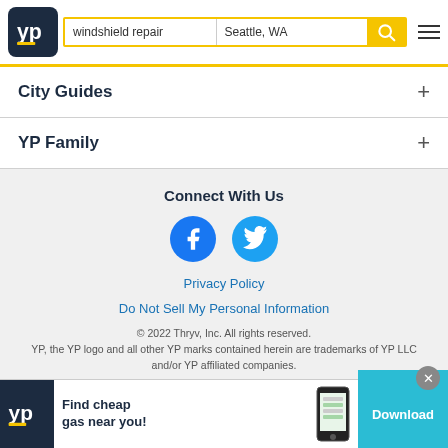windshield repair | Seattle, WA
City Guides
YP Family
Connect With Us
[Figure (logo): Facebook circle icon (blue)]
[Figure (logo): Twitter circle icon (blue)]
Privacy Policy
Do Not Sell My Personal Information
© 2022 Thryv, Inc. All rights reserved.
YP, the YP logo and all other YP marks contained herein are trademarks of YP LLC and/or YP affiliated companies.
[Figure (infographic): Ad banner: YP logo, 'Find cheap gas near you!', phone screenshot, Download button]